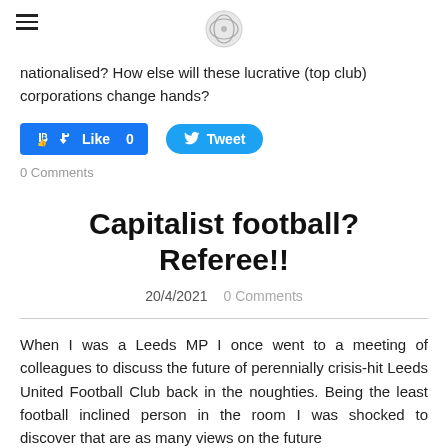[hamburger menu icon] [logo image]
nationalised? How else will these lucrative (top club) corporations change hands?
[Figure (other): Facebook Like button showing count 0 and Twitter Tweet button]
0 Comments
Capitalist football? Referee!!
20/4/2021   0 Comments
When I was a Leeds MP I once went to a meeting of colleagues to discuss the future of perennially crisis-hit Leeds United Football Club back in the noughties. Being the least football inclined person in the room I was shocked to discover that are as many views on the future